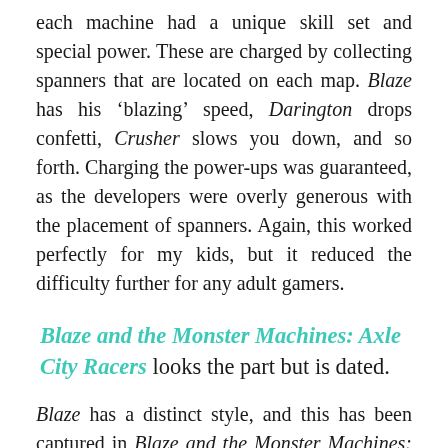each machine had a unique skill set and special power. These are charged by collecting spanners that are located on each map. Blaze has his 'blazing' speed, Darington drops confetti, Crusher slows you down, and so forth. Charging the power-ups was guaranteed, as the developers were overly generous with the placement of spanners. Again, this worked perfectly for my kids, but it reduced the difficulty further for any adult gamers.
Blaze and the Monster Machines: Axle City Racers looks the part but is dated.
Blaze has a distinct style, and this has been captured in Blaze and the Monster Machines: Axle City Racers. It's just a shame that it's pretty dated. The colourful landscape, familiar machines, and